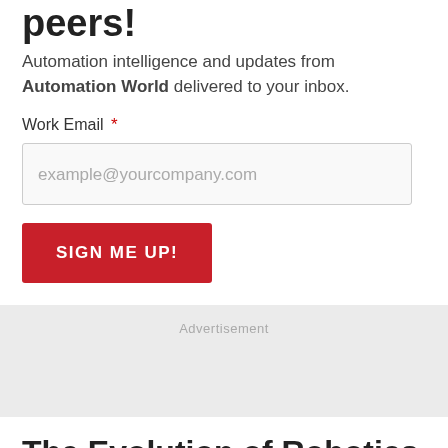peers!
Automation intelligence and updates from Automation World delivered to your inbox.
Work Email *
example@yourcompany.com
SIGN ME UP!
Advertisement
The Evolution of Robotics